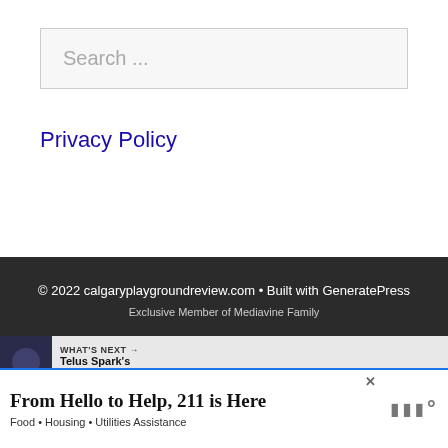Search ...
Privacy Policy
© 2022 calgaryplaygroundreview.com • Built with GeneratePress
Exclusive Member of Mediavine Family
WHAT'S NEXT → Telus Spark's Permanent...
[Figure (screenshot): Advertisement banner: From Hello to Help, 211 is Here - Food • Housing • Utilities Assistance]